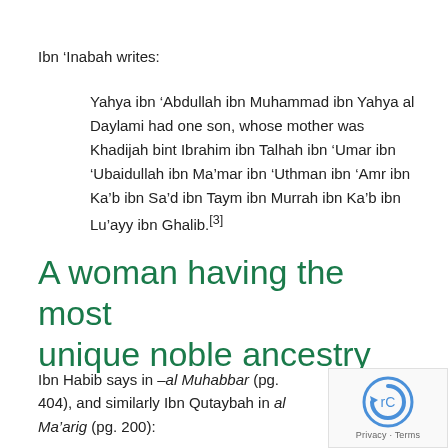Ibn 'Inabah writes:
Yahya ibn 'Abdullah ibn Muhammad ibn Yahya al Daylami had one son, whose mother was Khadijah bint Ibrahim ibn Talhah ibn 'Umar ibn 'Ubaidullah ibn Ma'mar ibn 'Uthman ibn 'Amr ibn Ka'b ibn Sa'd ibn Taym ibn Murrah ibn Ka'b ibn Lu'ayy ibn Ghalib.[3]
A woman having the most unique noble ancestry
Ibn Habib says in –al Muhabbar (pg. 404), and similarly Ibn Qutaybah in al Ma'arig (pg. 200):